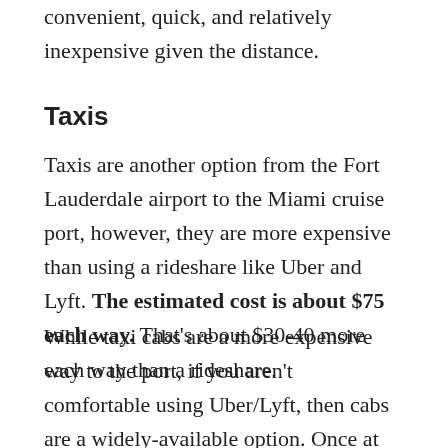convenient, quick, and relatively inexpensive given the distance.
Taxis
Taxis are another option from the Fort Lauderdale airport to the Miami cruise port, however, they are more expensive than using a rideshare like Uber and Lyft. The estimated cost is about $75 each way. That's about $30-40 more each way than a rideshare.
While taxi cabs are a more expensive way to the port, if you aren't comfortable using Uber/Lyft, then cabs are a widely-available option. Once at the airport, simply follow the ground transportation